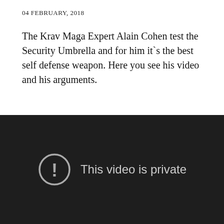04 FEBRUARY, 2018
The Krav Maga Expert Alain Cohen test the Security Umbrella and for him it`s the best self defense weapon. Here you see his video and his arguments.
[Figure (screenshot): Embedded video player showing a private video message: a circular exclamation mark icon and the text 'This video is private' on a dark background.]